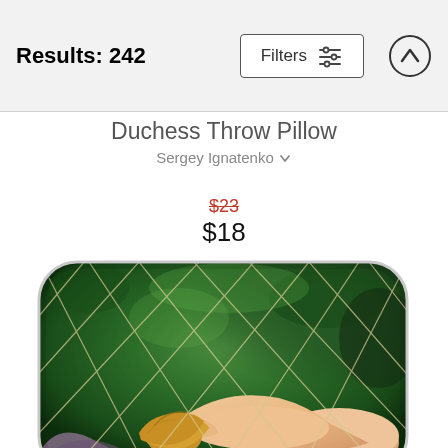Results: 242
Duchess Throw Pillow
Sergey Ignatenko
$23 (strikethrough) $18
[Figure (photo): A decorative throw pillow featuring a painted illustration of a reclining woman with blonde hair, covered by a fishnet/grid overlay pattern, set against a green background. The pillow has rounded corners.]